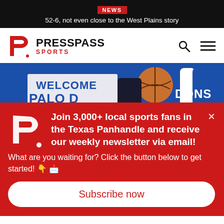NEWS | 52-6, not even close to the West Plains story
[Figure (logo): Press Pass Sports logo — red PP icon with PRESSPASS in black bold and SPORTS in red below]
[Figure (photo): Basketball photo showing players near a sign reading PALO DURO and DONS]
Join 3,000+ local sports fans in the Texas Panhandle and receive our weekly newsletter via email!
What are you waiting for? Click the button below to get started! 👇 📩
Subscribe now